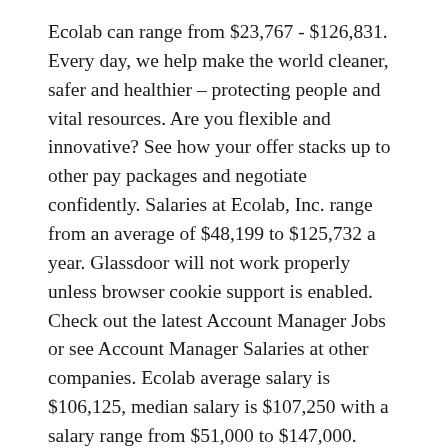Ecolab can range from $23,767 - $126,831. Every day, we help make the world cleaner, safer and healthier – protecting people and vital resources. Are you flexible and innovative? See how your offer stacks up to other pay packages and negotiate confidently. Salaries at Ecolab, Inc. range from an average of $48,199 to $125,732 a year. Glassdoor will not work properly unless browser cookie support is enabled. Check out the latest Account Manager Jobs or see Account Manager Salaries at other companies. Ecolab average salary is $106,125, median salary is $107,250 with a salary range from $51,000 to $147,000. What are the steps along the way? Find average salaries for Ecolab jobs such as Training Specialist, Business Development Manager, or Delivery Manager. £52,384 / yr. Tell us about you and get an estimated calculation of how much you should be earning and insight into your career options. Who are we? The information provided is from their perspective. Please note that all